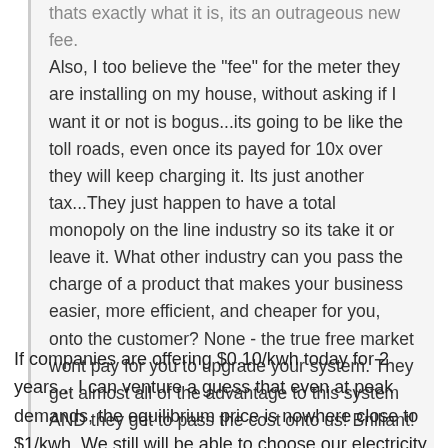thats exactly what it is, its an outrageous new fee. Also, I too believe the "fee" for the meter they are installing on my house, without asking if I want it or not is bogus...its going to be like the toll roads, even once its payed for 10x over they will keep charging it. Its just another tax...They just happen to have a total monopoly on the line industry so its take it or leave it. What other industry can you pass the charge of a product that makes your business easier, more efficient, and cheaper for you, onto the customer? None - the true free market wont pay for you to upgrade your system. They get almost all of the advantage to this system AND they get to pass the cost onto us! Brilliant!
If companies are offering $0.10/kwh today for 2 years... I can venture a guess that even at peak demands, the equilibrium price is nowhere close to $1/kwh. We still will be able to choose our electricity providers... we will still have contracts that have terms and conditions.
Im sure there will be a peak and off-peak price built into the contract. The only difference is the smart meter will allow you